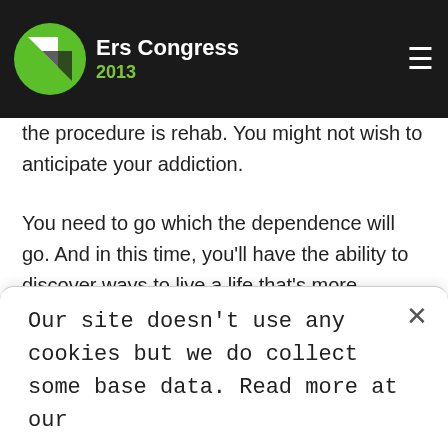Ers Congress 2013
st phase – You might choose to keep that dependence recovery is a type of process. Along with the very first phase of the procedure is rehab. You might not wish to anticipate your addiction.
You need to go which the dependence will go. And in this time, you'll have the ability to discover ways to live a life that's more productive and free of improvement. When the treatment is finished, you can return to your life with the assistance of knowledge and their abilities that you obtained through the treatment.
Consequently, in case you've been thinking of having an
Our site doesn't use any cookies but we do collect some base data. Read more at our